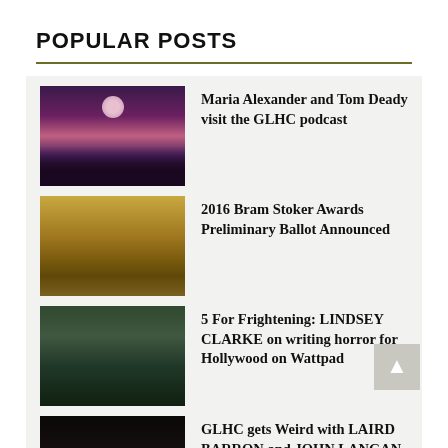POPULAR POSTS
Maria Alexander and Tom Deady visit the GLHC podcast
2016 Bram Stoker Awards Preliminary Ballot Announced
5 For Frightening: LINDSEY CLARKE on writing horror for Hollywood on Wattpad
GLHC gets Weird with LAIRD BARRON and JOHN LANGAN
31 Days of Halloween… with JOSH